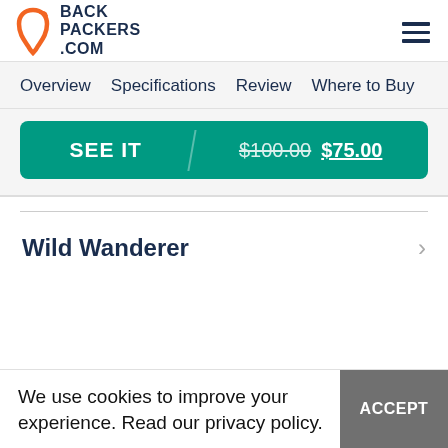[Figure (logo): Backpackers.com logo with orange carabiner icon and dark navy text reading BACK PACKERS .COM]
Overview   Specifications   Review   Where to Buy
SEE IT   $100.00 $75.00
Wild Wanderer
We use cookies to improve your experience. Read our privacy policy.
ACCEPT